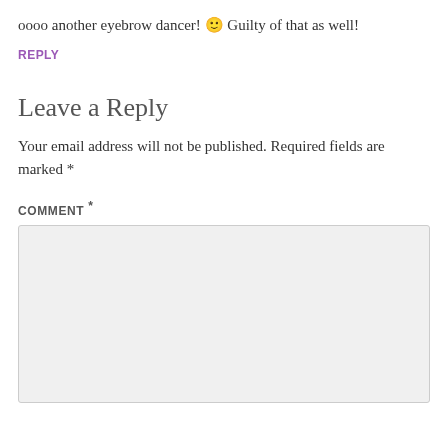oooo another eyebrow dancer! 🙂 Guilty of that as well!
REPLY
Leave a Reply
Your email address will not be published. Required fields are marked *
COMMENT *